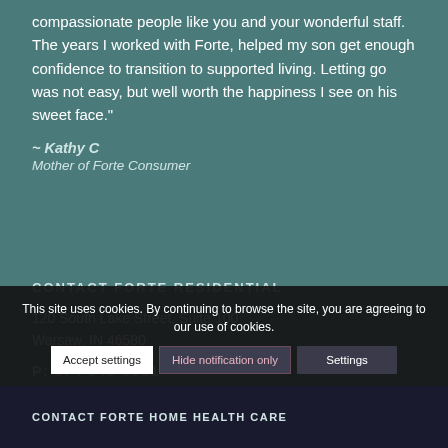compassionate people like you and your wonderful staff. The years I worked with Forte, helped my son get enough confidence to transition to supported living. Letting go was not easy, but well worth the happiness I see on his sweet face."
~ Kathy C
Mother of Forte Consumer
CONTACT FORTE RESIDENTIAL
120 South Lake Street, Suite 100
Warsaw, IN 46580
P: 574-549-9961
This site uses cookies. By continuing to browse the site, you are agreeing to our use of cookies.
Accept settings   Hide notification only   Settings
CONTACT FORTE HOME HEALTH CARE